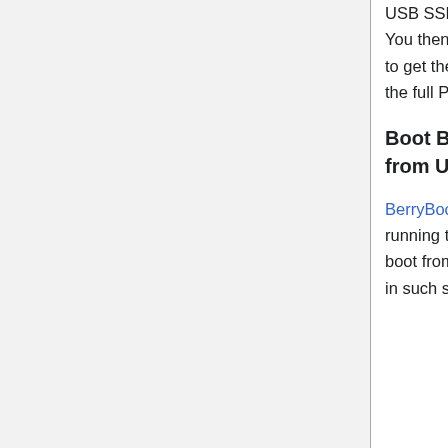USB SSD. Once boots up, it will resize the ext4 partition to cover the whole SSD. You then go through the short setup steps and update process of several minutes to get the OS finally running. You can get more applications to make it same as the full Pi OS image.
Boot BerryBoot from USB, yet to be able to install multiple OS from USB
BerryBoot V2.0 is a great tool for this. It boots up kernel and a tiny system running the app to let you install multiple OS. Just need one little tweak to let it boot from USB SSD. But it still has issues to prepare partitions for OS installation in such setup. We have to wait till it is updated to address this.